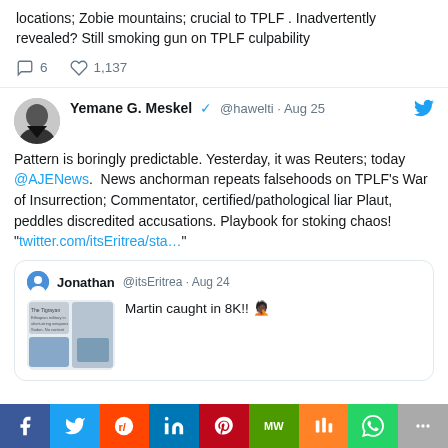locations; Zobie mountains; crucial to TPLF . Inadvertently revealed? Still smoking gun on TPLF culpability
6 replies, 1,137 likes
Yemane G. Meskel @hawelti · Aug 25
Pattern is boringly predictable. Yesterday, it was Reuters; today @AJENews. News anchorman repeats falsehoods on TPLF's War of Insurrection; Commentator, certified/pathological liar Plaut, peddles discredited accusations. Playbook for stoking chaos! "twitter.com/itsEritrea/sta…"
Jonathan @itsEritrea · Aug 24 — Martin caught in 8K!! 🤦🏿
Facebook Twitter Reddit LinkedIn Pinterest MW Mix WhatsApp More